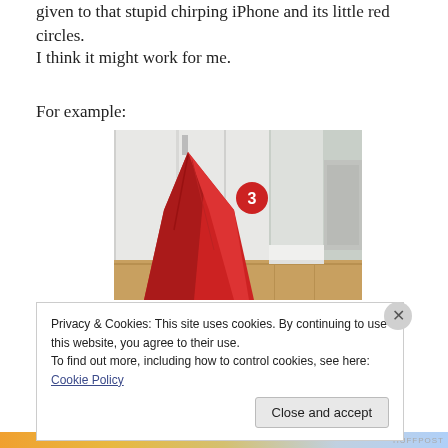given to that stupid chirping iPhone and its little red circles.
I think it might work for me.
For example:
[Figure (photo): Photo of a red garment or bag hanging on a white cabinet door hook in a hallway, with a red circle labeled '3' overlaid on the image.]
Privacy & Cookies: This site uses cookies. By continuing to use this website, you agree to their use.
To find out more, including how to control cookies, see here: Cookie Policy
Close and accept